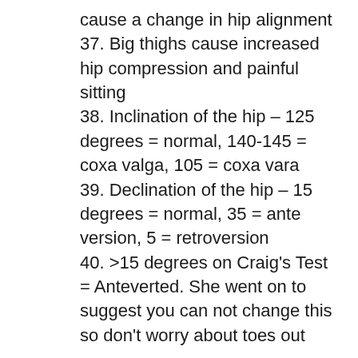cause a change in hip alignment
37. Big thighs cause increased hip compression and painful sitting
38. Inclination of the hip – 125 degrees = normal, 140-145 = coxa valga, 105 = coxa vara
39. Declination of the hip – 15 degrees = normal, 35 = ante version, 5 = retroversion
40. >15 degrees on Craig's Test = Anteverted. She went on to suggest you can not change this so don't worry about toes out